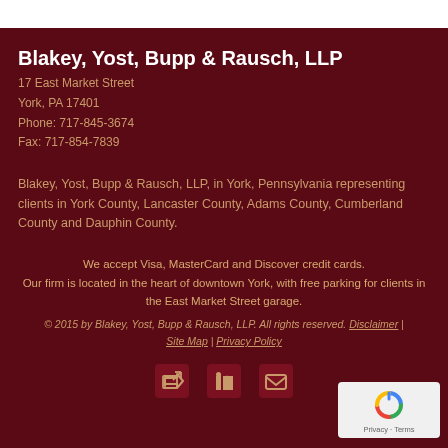Blakey, Yost, Bupp & Rausch, LLP
17 East Market Street
York, PA 17401
Phone: 717-845-3674
Fax: 717-854-7839
Blakey, Yost, Bupp & Rausch, LLP, in York, Pennsylvania representing clients in York County, Lancaster County, Adams County, Cumberland County and Dauphin County.
We accept Visa, MasterCard and Discover credit cards.
Our firm is located in the heart of downtown York, with free parking for clients in the East Market Street garage.
© 2015 by Blakey, Yost, Bupp & Rausch, LLP. All rights reserved. Disclaimer | Site Map | Privacy Policy
[Figure (infographic): Social media and contact icons row with external link, LinkedIn, and email icons]